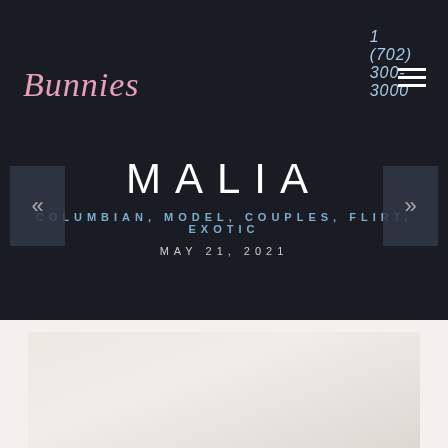1 (702) 300-3000
[Figure (logo): Bunnies cursive script logo in pink/rose color]
MALIA
COLUMBIAN, MODEL, COUPLES, FLIRT, EXOTIC
MAY 21, 2021
[Figure (photo): Bottom portion of a photo, light/cream colored background, partially visible]